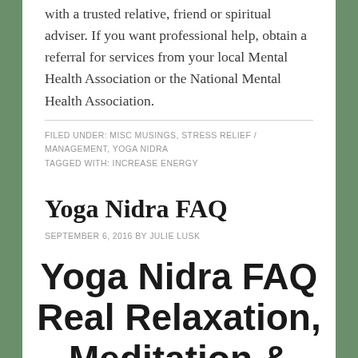with a trusted relative, friend or spiritual adviser. If you want professional help, obtain a referral for services from your local Mental Health Association or the National Mental Health Association.
FILED UNDER: MISC MUSINGS, STRESS RELIEF / MANAGEMENT, YOGA NIDRA
TAGGED WITH: INCREASE ENERGY
Yoga Nidra FAQ
SEPTEMBER 6, 2016 BY JULIE LUSK
Yoga Nidra FAQ Real Relaxation, Meditation & Much